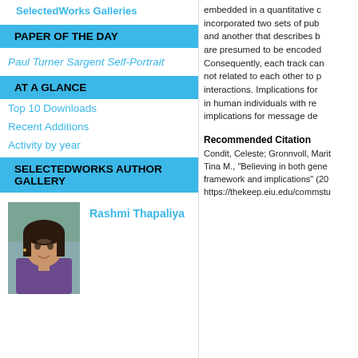SelectedWorks Galleries
PAPER OF THE DAY
Paul Turner Sargent Self-Portrait
AT A GLANCE
Top 10 Downloads
Recent Additions
Activity by year
SELECTEDWORKS AUTHOR GALLERY
[Figure (photo): Photo of Rashmi Thapaliya, a young woman with dark hair, smiling]
Rashmi Thapaliya
embedded in a quantitative c incorporated two sets of pub and another that describes b are presumed to be encoded Consequently, each track can not related to each other to p interactions. Implications for in human individuals with re implications for message de
Recommended Citation
Condit, Celeste; Gronnvoll, Marit Tina M., "Believing in both gene framework and implications" (20 https://thekeep.eiu.edu/commstu